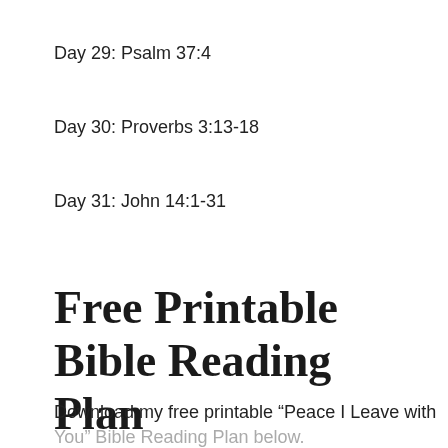Day 29: Psalm 37:4
Day 30: Proverbs 3:13-18
Day 31: John 14:1-31
Free Printable Bible Reading Plan
Download my free printable “Peace I Leave with You” Bible Reading Plan below.